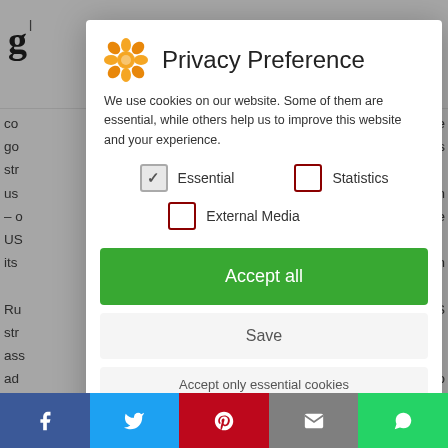[Figure (screenshot): Background webpage content partially visible behind a cookie consent modal overlay. Shows partial logo 'g' on top left, hamburger menu icon top right, and partial body text on left and right sides.]
Privacy Preference
We use cookies on our website. Some of them are essential, while others help us to improve this website and your experience.
Essential (checked)
Statistics (unchecked)
External Media (unchecked)
Accept all
Save
Accept only essential cookies
Individual Privacy Preferences
Cookie Details | Privacy Policy